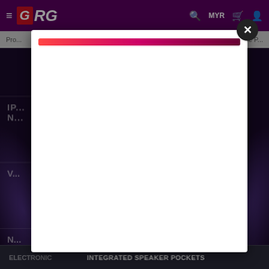GRG — MYR navigation header with hamburger menu, search, cart and user icons
Pro... in the ...
IN... N...
V...
N... F...
[Figure (screenshot): Modal dialog overlay on a GRG e-commerce website showing a loading progress bar (gradient from red to dark purple) and a close (X) button. The background shows a dark purple e-commerce page with product category grid.]
ELECTRONIC    INTEGRATED SPEAKER POCKETS